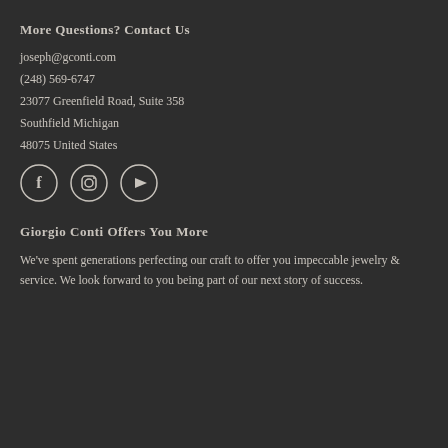More Questions? Contact Us
joseph@gconti.com
(248) 569-6747
23077 Greenfield Road, Suite 358
Southfield Michigan
48075 United States
[Figure (illustration): Three circular social media icons: Facebook (f), Instagram (camera icon), and YouTube (play button)]
Giorgio Conti Offers You More
We've spent generations perfecting our craft to offer you impeccable jewelry & service. We look forward to you being part of our next story of success.